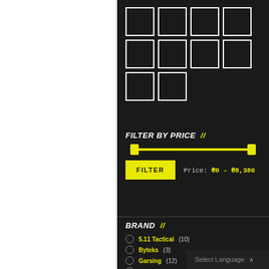[Figure (other): 3x4 grid of white-bordered black squares (product thumbnails), with the bottom row having only 2 squares]
FILTER BY PRICE //
[Figure (other): Yellow price range slider with two handles spanning full width]
FILTER   Price: ₴0 – ₴8,380
BRAND //
5.11 Tactical (10)
Byteks (3)
Garsing (12)
haix (13)
Select Language